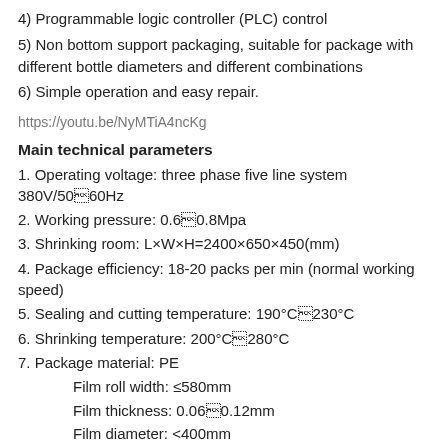4) Programmable logic controller (PLC) control
5) Non bottom support packaging, suitable for package with different bottle diameters and different combinations
6) Simple operation and easy repair.
https://youtu.be/NyMTiA4ncKg
Main technical parameters
1. Operating voltage: three phase five line system 380V/5060Hz
2. Working pressure: 0.60.8Mpa
3. Shrinking room: L×W×H=2400×650×450(mm)
4. Package efficiency: 18-20 packs per min (normal working speed)
5. Sealing and cutting temperature: 190°C230°C
6. Shrinking temperature: 200°C280°C
7. Package material: PE
Film roll width: ≤580mm
Film thickness: 0.060.12mm
Film diameter: <400mm